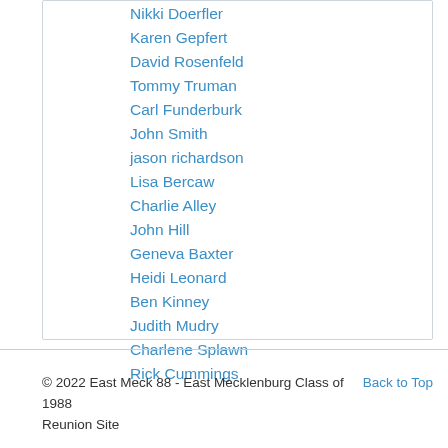Nikki Doerfler
Karen Gepfert
David Rosenfeld
Tommy Truman
Carl Funderburk
John Smith
jason richardson
Lisa Bercaw
Charlie Alley
John Hill
Geneva Baxter
Heidi Leonard
Ben Kinney
Judith Mudry
Charlene Splawn
Rick Cummings
© 2022 East Meck 88 - East Mecklenburg Class of 1988 Reunion Site   Back to Top